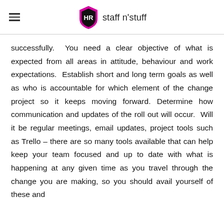HR staff n'stuff
successfully.  You need a clear objective of what is expected from all areas in attitude, behaviour and work expectations.  Establish short and long term goals as well as who is accountable for which element of the change project so it keeps moving forward.  Determine how communication and updates of the roll out will occur.  Will it be regular meetings, email updates, project tools such as Trello – there are so many tools available that can help keep your team focused and up to date with what is happening at any given time as you travel through the change you are making, so you should avail yourself of these and